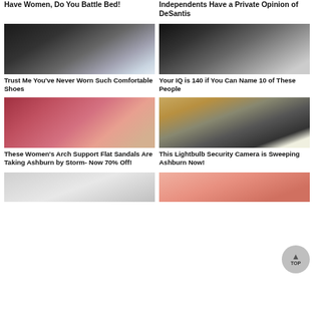Have Women, Do You Battle Bed!
Independents Have a Private Opinion of DeSantis
[Figure (photo): Black athletic shoes worn by a person sitting]
Trust Me You've Never Worn Such Comfortable Shoes
[Figure (photo): Black and white photo of a man wearing a cap]
Your IQ is 140 if You Can Name 10 of These People
[Figure (photo): Pink flat sandals with ankle strap]
These Women's Arch Support Flat Sandals Are Taking Ashburn by Storm- Now 70% Off!
[Figure (photo): Lightbulb security camera mounted on wall]
This Lightbulb Security Camera is Sweeping Ashburn Now!
[Figure (photo): Partial image bottom left]
[Figure (photo): Partial image bottom right]